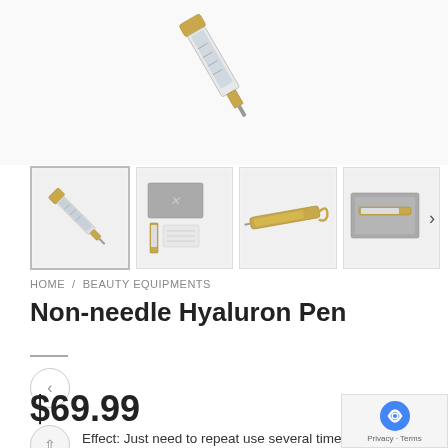[Figure (photo): Main product image of Non-needle Hyaluron Pen device shown at top of page on white background]
[Figure (photo): Thumbnail row showing four product images: 1) pen closeup (active/selected with border), 2) pen with accessories and box, 3) pen tool alone, 4) pen in gray box packaging. Arrow on right side of last thumbnail.]
HOME / BEAUTY EQUIPMENTS
Non-needle Hyaluron Pen
$69.99
Effect: Just need to repeat use several times, y...